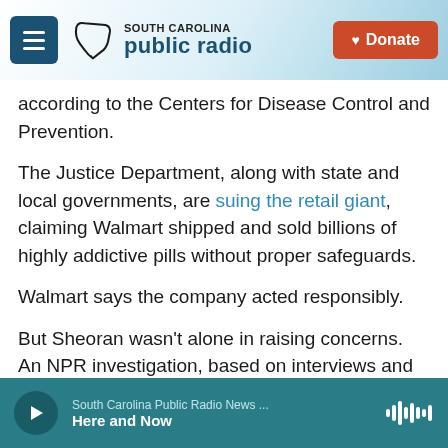South Carolina Public Radio — Donate
according to the Centers for Disease Control and Prevention.
The Justice Department, along with state and local governments, are suing the retail giant, claiming Walmart shipped and sold billions of highly addictive pills without proper safeguards.
Walmart says the company acted responsibly.
But Sheoran wasn't alone in raising concerns. An NPR investigation, based on interviews and government court filings, found that Walmart pharmacists warned for years about opioid sales
South Carolina Public Radio News ... Here and Now